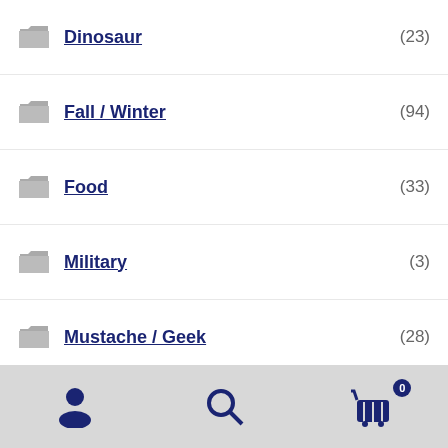Dinosaur (23)
Fall / Winter (94)
Food (33)
Military (3)
Mustache / Geek (28)
Pirate / Fantasy / Fairy Tale (16)
Pregnancy Announcement (8)
School / Teacher (13)
Space / Monsters (25)
Sports (83)
Sports - Family (18)
Navigation bar with user, search, and cart icons